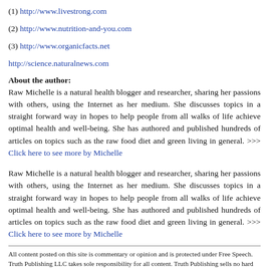(1) http://www.livestrong.com
(2) http://www.nutrition-and-you.com
(3) http://www.organicfacts.net
http://science.naturalnews.com
About the author:
Raw Michelle is a natural health blogger and researcher, sharing her passions with others, using the Internet as her medium. She discusses topics in a straight forward way in hopes to help people from all walks of life achieve optimal health and well-being. She has authored and published hundreds of articles on topics such as the raw food diet and green living in general. >>> Click here to see more by Michelle
Raw Michelle is a natural health blogger and researcher, sharing her passions with others, using the Internet as her medium. She discusses topics in a straight forward way in hopes to help people from all walks of life achieve optimal health and well-being. She has authored and published hundreds of articles on topics such as the raw food diet and green living in general. >>> Click here to see more by Michelle
All content posted on this site is commentary or opinion and is protected under Free Speech. Truth Publishing LLC takes sole responsibility for all content. Truth Publishing sells no hard products and earns no money from the recommendation of products. NaturalNews.com is presented for educational and commentary purposes only and should not be construed as professional advice from any licensed practitioner. Truth Publishing assumes no responsibility for the use or misuse of this material. For the full terms of usage of this material, visit www.NaturalNews.com/terms.shtml